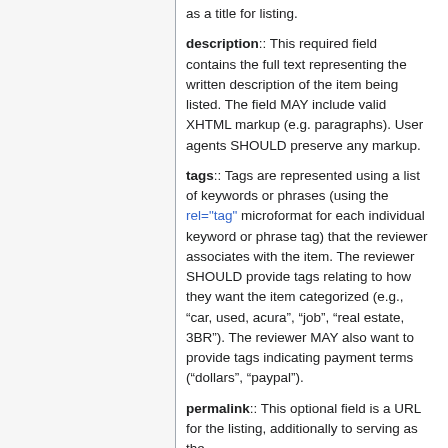as a title for listing.
description:: This required field contains the full text representing the written description of the item being listed. The field MAY include valid XHTML markup (e.g. paragraphs). User agents SHOULD preserve any markup.
tags:: Tags are represented using a list of keywords or phrases (using the rel="tag" microformat for each individual keyword or phrase tag) that the reviewer associates with the item. The reviewer SHOULD provide tags relating to how they want the item categorized (e.g., “car, used, acura”, “job”, “real estate, 3BR”). The reviewer MAY also want to provide tags indicating payment terms (“dollars”, “paypal”).
permalink:: This optional field is a URL for the listing, additionally to serving as the...